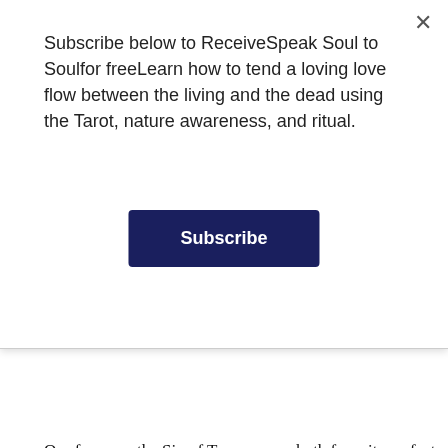Subscribe below to ReceiveSpeak Soul to Soulfor freeLearn how to tend a loving love flow between the living and the dead using the Tarot, nature awareness, and ritual.
Subscribe
Buy Now
Our focus on the Six of Trees comes both from its perfect fit with the idea of the initiation of sacred travel and also because it came up in a reading we did in our last session on Invoking the Seeds. It was in fact, the Seed that those who prepare for the trip through the year and then make the journey to